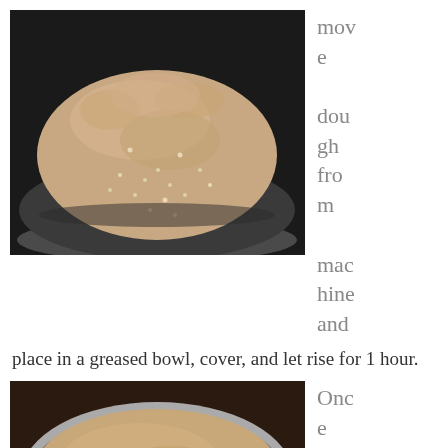[Figure (photo): A ball of raw bread dough with visible seeds/grains sitting in a dark mixing bowl, photographed from above at an angle.]
move dough from machine and place in a greased bowl, cover, and let rise for 1 hour.
[Figure (photo): Bread dough that has risen, sitting in a round silver/metal pan, photographed from above, showing a smooth flat top surface.]
Once dough is risen to dou